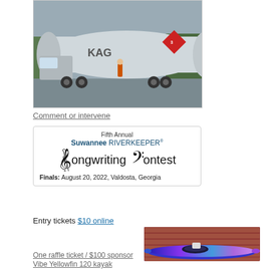[Figure (photo): KAG tanker truck with hazmat placard parked at a location]
Comment or intervene
[Figure (infographic): Fifth Annual Suwannee RIVERKEEPER Songwriting Contest. Finals: August 20, 2022, Valdosta, Georgia]
Entry tickets $10 online
[Figure (photo): Vibe Yellowfin 120 kayak – blue/purple colorful kayak on display]
One raffle ticket / $100 sponsor
Vibe Yellowfin 120 kayak
Buy Now